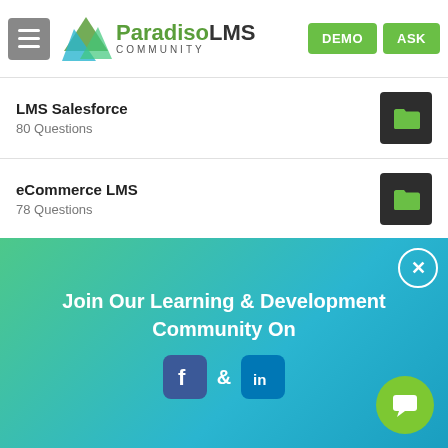Paradiso LMS Community — DEMO | ASK
LMS Salesforce — 80 Questions
eCommerce LMS — 78 Questions
Gamification — 78 Questions
SCORM LMS — 77 Questions
Join Our Learning & Development Community On Facebook & LinkedIn